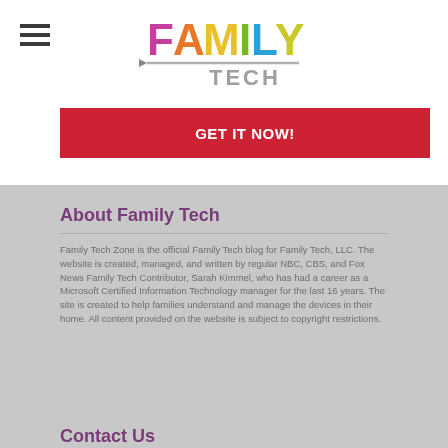[Figure (logo): Family Tech logo with colorful letters FAMILY in pink/orange/yellow/green/blue/yellow and TECH in gray with a fork/lightning bolt graphic]
GET IT NOW!
About Family Tech
Family Tech Zone is the official Family Tech blog for Family Tech, LLC. The website is created, managed, and written by regular NBC, CBS, and Fox News Family Tech Contributor, Sarah Kimmel, who has had a career as a Microsoft Certified Information Technology manager for the last 16 years. The site is created to help families understand and manage the devices in their home. All content provided on the website is subject to copyright restrictions.
Contact Us